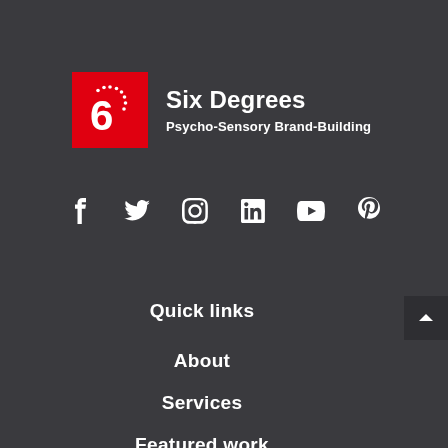[Figure (logo): Six Degrees logo: red square with white '6' and sun/gear icon, beside text 'Six Degrees' and 'Psycho-Sensory Brand-Building']
[Figure (infographic): Social media icons row: Facebook, Twitter, Instagram, LinkedIn, YouTube, Pinterest]
Quick links
About
Services
Featured work
Blog